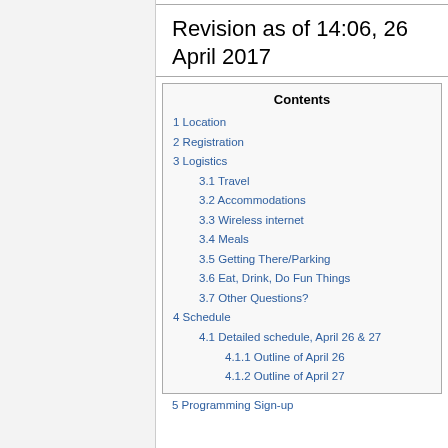Revision as of 14:06, 26 April 2017
1 Location
2 Registration
3 Logistics
3.1 Travel
3.2 Accommodations
3.3 Wireless internet
3.4 Meals
3.5 Getting There/Parking
3.6 Eat, Drink, Do Fun Things
3.7 Other Questions?
4 Schedule
4.1 Detailed schedule, April 26 & 27
4.1.1 Outline of April 26
4.1.2 Outline of April 27
5 Programming Sign-up